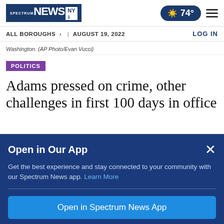Spectrum NEWS NY1 | 74° | Menu
ALL BOROUGHS > | AUGUST 19, 2022 | LOG IN
Washington. (AP Photo/Evan Vucci)
POLITICS
Adams pressed on crime, other challenges in first 100 days in office
Open in Our App
Get the best experience and stay connected to your community with our Spectrum News app. Learn More
Open in Spectrum News App
Continue in Browser